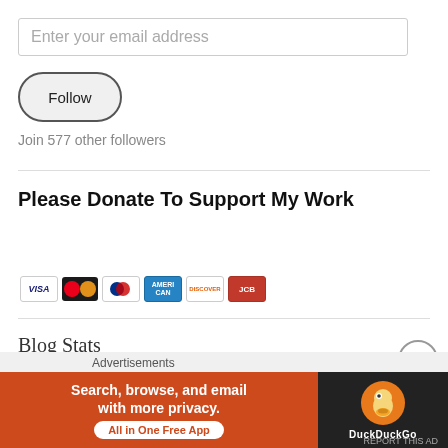Enter your email address
Follow
Join 577 other followers
Please Donate To Support My Work
[Figure (other): PayPal Donate button with credit card icons (Visa, Mastercard, PayPal, AmEx, Discover, JCB)]
Blog Stats
[Figure (other): DuckDuckGo advertisement banner: 'Search, browse, and email with more privacy. All in One Free App' with DuckDuckGo duck logo]
Advertisements